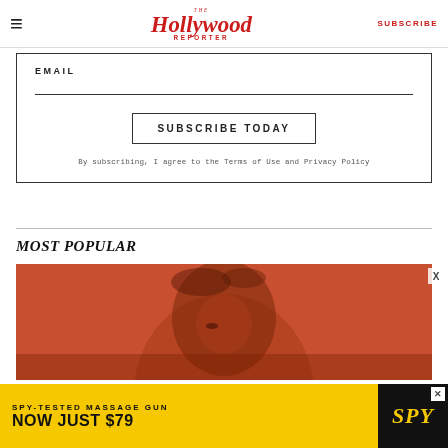The Hollywood Reporter — SUBSCRIBE
EMAIL
SUBSCRIBE TODAY
By subscribing, I agree to the Terms of Use and Privacy Policy
MOST POPULAR
[Figure (photo): Person with reddish-brown hair against an orange-red background]
[Figure (infographic): SPY advertisement banner: SPY-TESTED MASSAGE GUN NOW JUST $79]